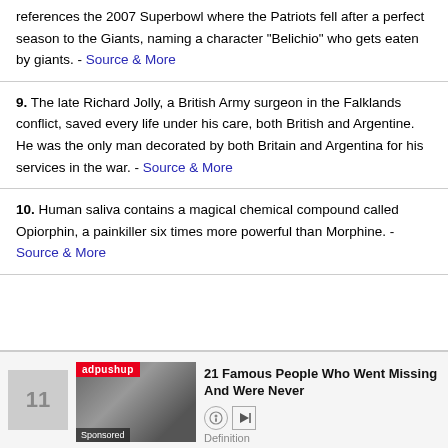references the 2007 Superbowl where the Patriots fell after a perfect season to the Giants, naming a character "Belichio" who gets eaten by giants. - Source & More
9. The late Richard Jolly, a British Army surgeon in the Falklands conflict, saved every life under his care, both British and Argentine. He was the only man decorated by both Britain and Argentina for his services in the war. - Source & More
10. Human saliva contains a magical chemical compound called Opiorphin, a painkiller six times more powerful than Morphine. - Source & More
[Figure (infographic): Advertisement section showing item number 11, an adpushup sponsored ad with a photo of a person, titled '21 Famous People Who Went Missing And Were Never' with Definition label and play/icon buttons.]